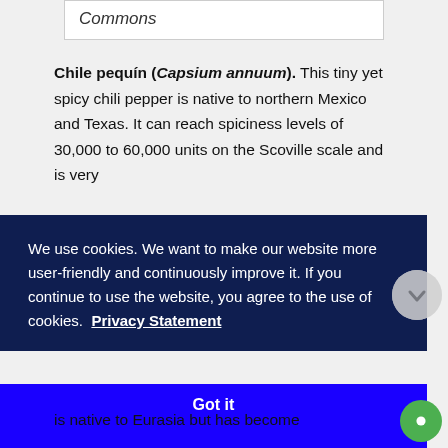Commons
Chile pequín (Capsium annuum). This tiny yet spicy chili pepper is native to northern Mexico and Texas. It can reach spiciness levels of 30,000 to 60,000 units on the Scoville scale and is very
We use cookies. We want to make our website more user-friendly and continuously improve it. If you continue to use the website, you agree to the use of cookies.  Privacy Statement
Got it
is native to Eurasia but has become